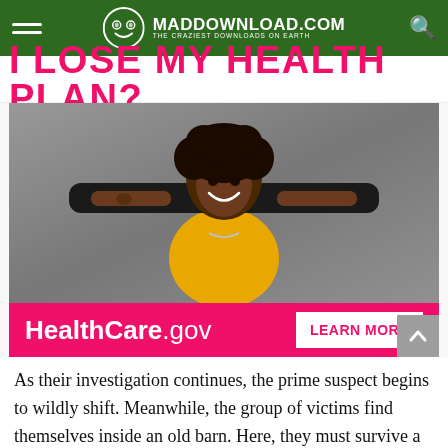MADDOWNLOAD.COM — THE CRAZIEST DOWNLOADS ON EARTH
[Figure (infographic): Healthcare.gov advertisement banner showing pink headline 'I LOSE MY HEALTH PLAN?', photo of young woman holding a skateboard wearing yellow shirt, pink bottom bar with HealthCare.gov and LEARN MORE button]
As their investigation continues, the prime suspect begins to wildly shift. Meanwhile, the group of victims find themselves inside an old barn. Here, they must survive a handful of traps meant to test their will to live. The story shifts back and forth between the groups, but puts a